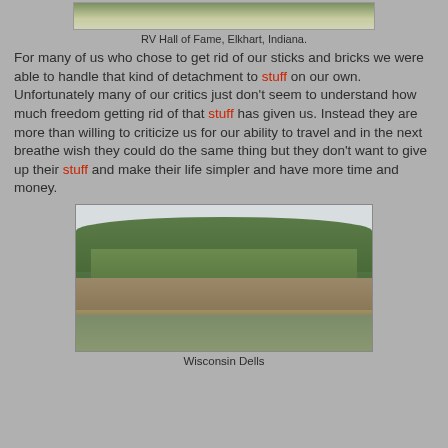[Figure (photo): Top portion of a photo showing a building exterior — RV Hall of Fame in Elkhart, Indiana]
RV Hall of Fame, Elkhart, Indiana.
For many of us who chose to get rid of our sticks and bricks we were able to handle that kind of detachment to stuff on our own. Unfortunately many of our critics just don't seem to understand how much freedom getting rid of that stuff has given us. Instead they are more than willing to criticize us for our ability to travel and in the next breathe wish they could do the same thing but they don't want to give up their stuff and make their life simpler and have more time and money.
[Figure (photo): Photo of a tree-lined rocky riverbank at Wisconsin Dells, with green-brown water in the foreground]
Wisconsin Dells